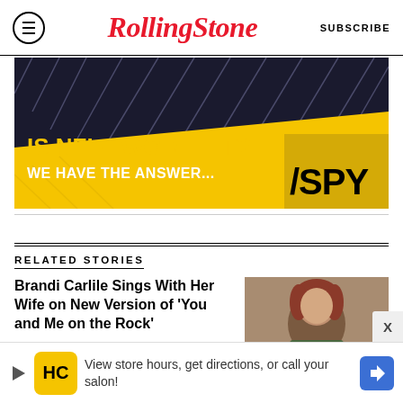RollingStone  SUBSCRIBE
[Figure (infographic): Advertisement banner: dark background with yellow diagonal stripe. Text reads 'IS NFL+ WORTH IT? WE HAVE THE ANSWER...' with /SPY logo]
RELATED STORIES
Brandi Carlile Sings With Her Wife on New Version of 'You and Me on the Rock'
[Figure (photo): Portrait photo of Brandi Carlile, woman with reddish-brown hair]
'She Schooled Us All': Inside Joni Mitchell's Stunning
[Figure (infographic): Bottom advertisement: HC logo on yellow background, text 'View store hours, get directions, or call your salon!' with blue navigation arrow]